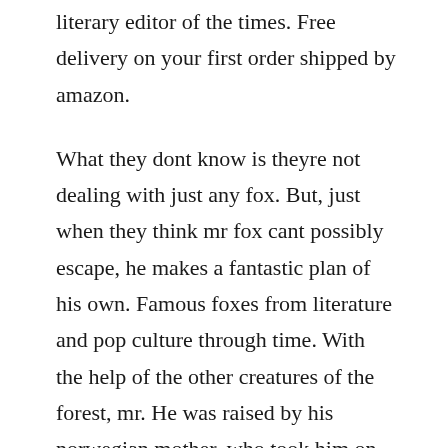literary editor of the times. Free delivery on your first order shipped by amazon.
What they dont know is theyre not dealing with just any fox. But, just when they think mr fox cant possibly escape, he makes a fantastic plan of his own. Famous foxes from literature and pop culture through time. With the help of the other creatures of the forest, mr. He was raised by his norwegian mother, who took him on annual trips to norway, where she told him the stories of trolls and witches present in the dark scandinavian